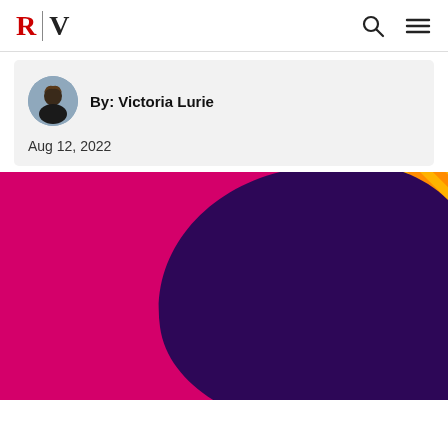R|V
By: Victoria Lurie
Aug 12, 2022
[Figure (illustration): Abstract graphic with magenta/pink background and large dark purple circular blob shape, with orange diagonal stripe pattern in upper right corner]